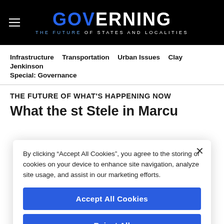GOVERNING THE FUTURE OF STATES AND LOCALITIES
Infrastructure  Transportation  Urban Issues  Clay Jenkinson Special: Governance
THE FUTURE OF WHAT'S HAPPENING NOW
By clicking “Accept All Cookies”, you agree to the storing of cookies on your device to enhance site navigation, analyze site usage, and assist in our marketing efforts.
Accept All Cookies
Reject All
Cookies Settings